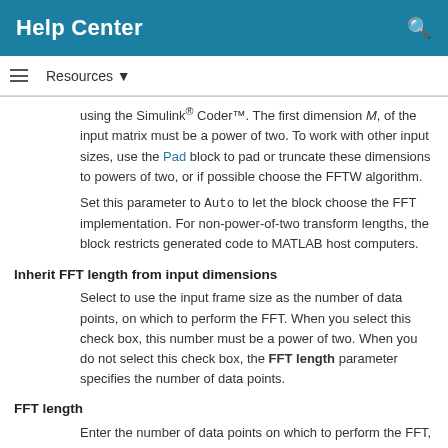Help Center
Resources
using the Simulink® Coder™. The first dimension M, of the input matrix must be a power of two. To work with other input sizes, use the Pad block to pad or truncate these dimensions to powers of two, or if possible choose the FFTW algorithm.
Set this parameter to Auto to let the block choose the FFT implementation. For non-power-of-two transform lengths, the block restricts generated code to MATLAB host computers.
Inherit FFT length from input dimensions
Select to use the input frame size as the number of data points, on which to perform the FFT. When you select this check box, this number must be a power of two. When you do not select this check box, the FFT length parameter specifies the number of data points.
FFT length
Enter the number of data points on which to perform the FFT, N_fft. When N_fft is larger than the input frame size, each frame is zero-padded as needed. When N_fft is smaller than the input